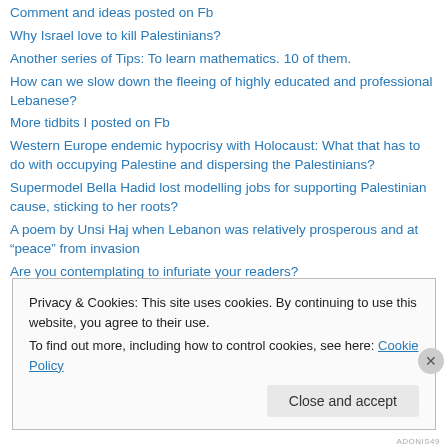Comment and ideas posted on Fb
Why Israel love to kill Palestinians?
Another series of Tips: To learn mathematics. 10 of them.
How can we slow down the fleeing of highly educated and professional Lebanese?
More tidbits I posted on Fb
Western Europe endemic hypocrisy with Holocaust: What that has to do with occupying Palestine and dispersing the Palestinians?
Supermodel Bella Hadid lost modelling jobs for supporting Palestinian cause, sticking to her roots?
A poem by Unsi Haj when Lebanon was relatively prosperous and at “peace” from invasion
Are you contemplating to infuriate your readers?
Privacy & Cookies: This site uses cookies. By continuing to use this website, you agree to their use.
To find out more, including how to control cookies, see here: Cookie Policy
Close and accept
ADONIS49